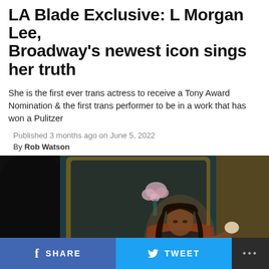LA Blade Exclusive: L Morgan Lee, Broadway's newest icon sings her truth
She is the first ever trans actress to receive a Tony Award Nomination & the first trans performer to be in a work that has won a Pulitzer
Published 3 months ago on June 5, 2022
By Rob Watson
[Figure (photo): A woman with long dark hair sits in front of a mirror with candles, wearing a rust-colored wrap top over a floral outfit, holding a makeup sponge. Pink flowers and candlelight visible in the background. Dark, moody lighting.]